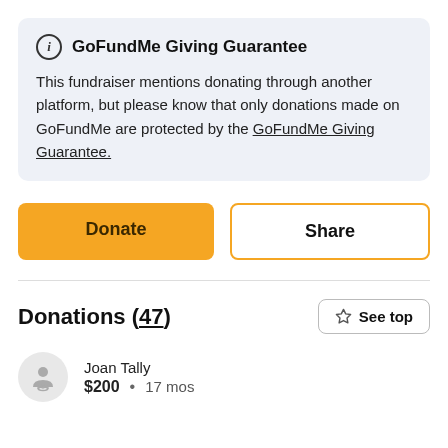GoFundMe Giving Guarantee
This fundraiser mentions donating through another platform, but please know that only donations made on GoFundMe are protected by the GoFundMe Giving Guarantee.
Donate
Share
Donations (47)
See top
Joan Tally
$200 • 17 mos